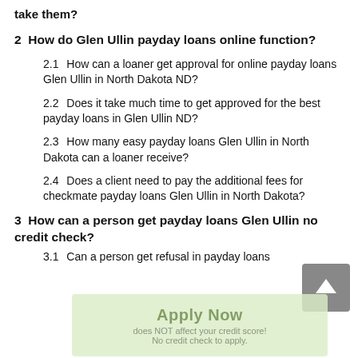take them?
2  How do Glen Ullin payday loans online function?
2.1  How can a loaner get approval for online payday loans Glen Ullin in North Dakota ND?
2.2  Does it take much time to get approved for the best payday loans in Glen Ullin ND?
2.3  How many easy payday loans Glen Ullin in North Dakota can a loaner receive?
2.4  Does a client need to pay the additional fees for checkmate payday loans Glen Ullin in North Dakota?
3  How can a person get payday loans Glen Ullin no credit check?
3.1  Can a person get refusal in payday loans
[Figure (other): Scroll-to-top button with upward arrow icon, gray background]
Apply Now
does NOT affect your credit score!
No credit check to apply.